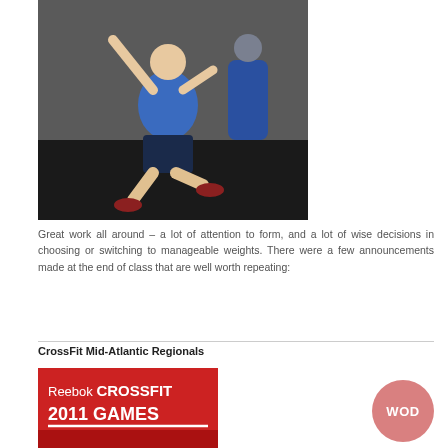[Figure (photo): A man wearing a blue t-shirt doing a CrossFit exercise (overhead movement) in a gym setting. He is wearing dark shorts and red sneakers. The background is dark.]
Great work all around – a lot of attention to form, and a lot of wise decisions in choosing or switching to manageable weights. There were a few announcements made at the end of class that are well worth repeating:
CrossFit Mid-Atlantic Regionals
[Figure (photo): Reebok CrossFit 2011 Games logo/banner image with red background and bold text.]